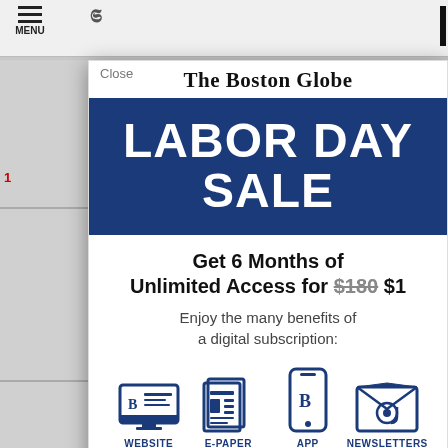[Figure (screenshot): The Boston Globe website screenshot showing a Labor Day Sale subscription modal overlay on top of a news website background. The modal includes the newspaper's masthead, a blue banner with 'LABOR DAY SALE', a promotion for '6 Months of Unlimited Access for $180 $1', and icons for WEBSITE, E-PAPER, APP, and NEWSLETTERS.]
The Boston Globe
LABOR DAY SALE
Get 6 Months of Unlimited Access for $180 $1
Enjoy the many benefits of a digital subscription:
WEBSITE
E-PAPER
APP
NEWSLETTERS